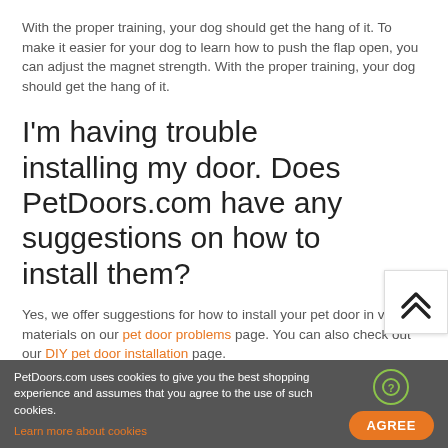With the proper training, your dog should get the hang of it. To make it easier for your dog to learn how to push the flap open, you can adjust the magnet strength. With the proper training, your dog should get the hang of it.
I'm having trouble installing my door. Does PetDoors.com have any suggestions on how to install them?
Yes, we offer suggestions for how to install your pet door in various materials on our pet door problems page. You can also check out our DIY pet door installation page.
PetDoors.com uses cookies to give you the best shopping experience and assumes that you agree to the use of such cookies. Learn more about cookies